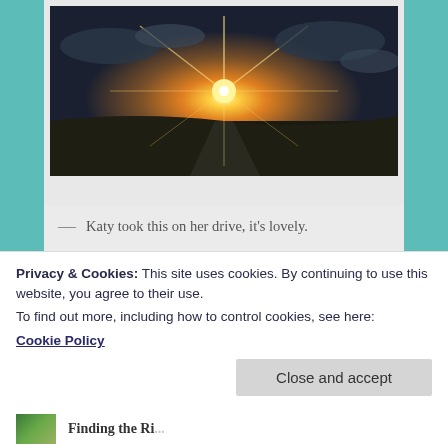[Figure (photo): Sunset photo with bright sun starburst over a flat landscape with clouds, taken through a car windshield or on a drive]
— Katy took this on her drive, it's lovely.
And that's probably my most favorite part of Rhinebeck: the re-inspiration it brings to my knitting, spinning, and crafting. It was much needed and is most invigorating.
Privacy & Cookies: This site uses cookies. By continuing to use this website, you agree to their use.
To find out more, including how to control cookies, see here:
Cookie Policy
[Figure (photo): Small thumbnail image at bottom, appears to be a green outdoor scene]